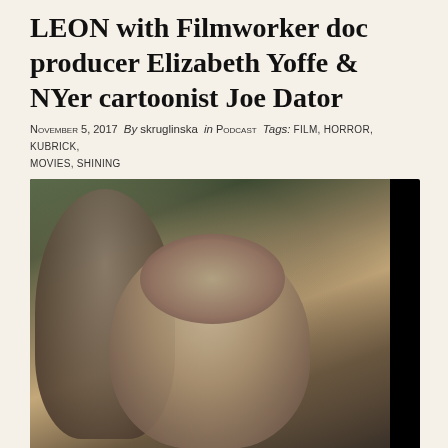LEON with Filmworker doc producer Elizabeth Yoffe & NYer cartoonist Joe Dator
November 5, 2017  By  skruglinska  in  Podcast  Tags: FILM, HORROR, KUBRICK, MOVIES, SHINING
[Figure (screenshot): Video/audio player showing a still from a documentary with two people (an adult and a child), with a dark audio player bar at the bottom showing play button, timecodes 00:00 and 00:00, and a progress bar.]
Documentary producer Elizabeth Yoffe discusses Danny Lloyd and his acting coach Leon Vitali, the subject of Filmworker. Bonus: Joe Dator!